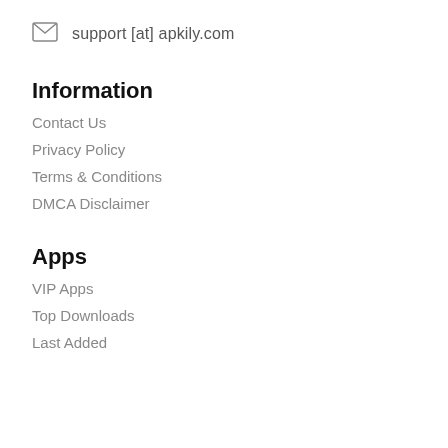support [at] apkily.com
Information
Contact Us
Privacy Policy
Terms & Conditions
DMCA Disclaimer
Apps
VIP Apps
Top Downloads
Last Added